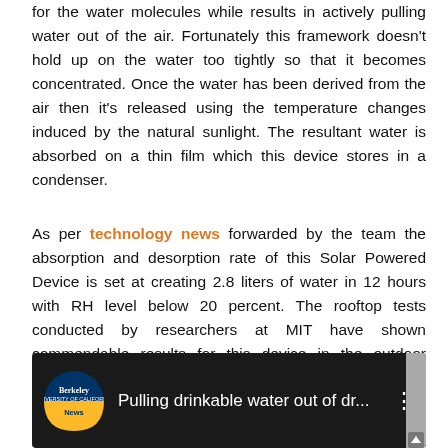for the water molecules while results in actively pulling water out of the air. Fortunately this framework doesn't hold up on the water too tightly so that it becomes concentrated. Once the water has been derived from the air then it's released using the temperature changes induced by the natural sunlight. The resultant water is absorbed on a thin film which this device stores in a condenser.
As per technology news forwarded by the team the absorption and desorption rate of this Solar Powered Device is set at creating 2.8 liters of water in 12 hours with RH level below 20 percent. The rooftop tests conducted by researchers at MIT have shown commendable results for this device in the outdoor conditions.
[Figure (screenshot): Video thumbnail showing Berkeley News logo (circle with blue top half and gold bottom half) on black background with text 'Pulling drinkable water out of dr...' and three-dot menu icon]